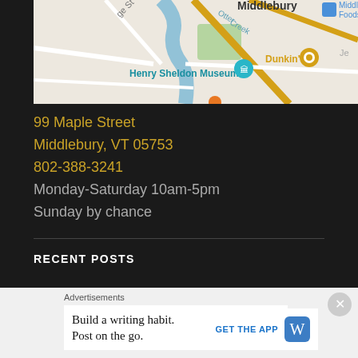[Figure (map): Google Maps screenshot showing Middlebury area with Henry Sheldon Museum marker, Otter Creek, roads, and Dunkin' location visible]
99 Maple Street
Middlebury, VT 05753
802-388-3241
Monday-Saturday 10am-5pm
Sunday by chance
RECENT POSTS
Hands-on-with-d-Portraits...
Advertisements
Build a writing habit. Post on the go.
GET THE APP